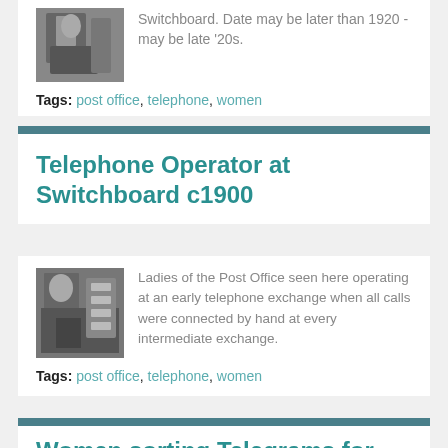Switchboard. Date may be later than 1920 - may be late '20s.
Tags: post office, telephone, women
Telephone Operator at Switchboard c1900
[Figure (photo): Black and white photograph of ladies operating at an early telephone exchange switchboard]
Ladies of the Post Office seen here operating at an early telephone exchange when all calls were connected by hand at every intermediate exchange.
Tags: post office, telephone, women
Women sorting Telegrams for